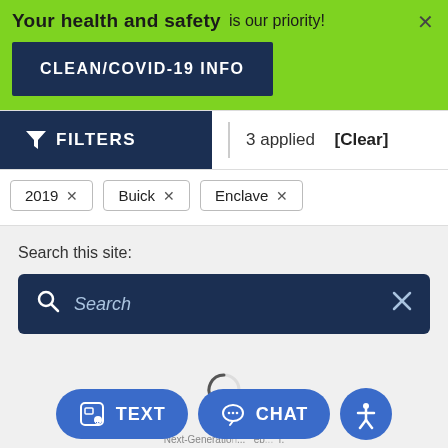Your health and safety is our priority!
CLEAN/COVID-19 INFO
FILTERS  3 applied  [Clear]
2019 ×   Buick ×   Enclave ×
Search this site:
Search
Next-Generation ... DealerSo... ...auto... ...r.
TEXT   CHAT